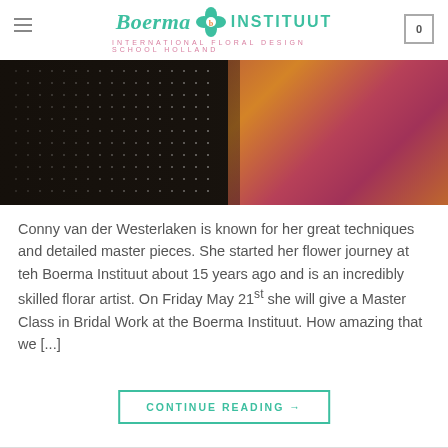Boerma INSTITUUT — INTERNATIONAL FLORAL DESIGN SCHOOL HOLLAND
[Figure (photo): Person in black polka-dot top with colorful flowers (pink, orange, yellow) in the background]
Conny van der Westerlaken is known for her great techniques and detailed master pieces. She started her flower journey at teh Boerma Instituut about 15 years ago and is an incredibly skilled florar artist. On Friday May 21st she will give a Master Class in Bridal Work at the Boerma Instituut. How amazing that we [...]
CONTINUE READING →